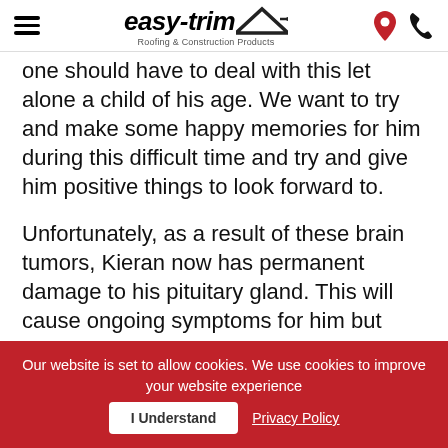easy-trim Roofing & Construction Products
one should have to deal with this let alone a child of his age. We want to try and make some happy memories for him during this difficult time and try and give him positive things to look forward to.
Unfortunately, as a result of these brain tumors, Kieran now has permanent damage to his pituitary gland. This will cause ongoing symptoms for him but throughout it all he has remained positive and a true inspiration to those around him. In just 6 weeks he has
Our website is set to allow cookies. We use cookies to improve your website experience  I Understand  Privacy Policy